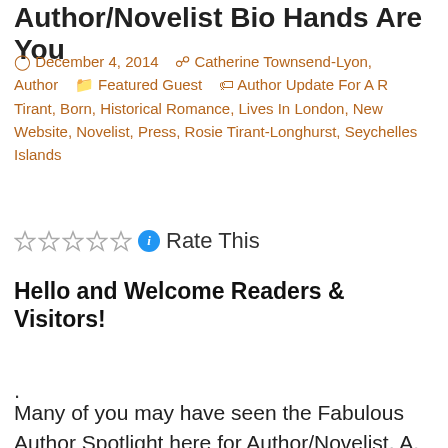Author/Novelist Bio Hands Are You
December 4, 2014  Catherine Townsend-Lyon, Author  Featured Guest  Author Update For A R Tirant, Born, Historical Romance, Lives In London, New Website, Novelist, Press, Rosie Tirant-Longhurst, Seychelles Islands
Rate This
Hello and Welcome Readers & Visitors!
.
Many of you may have seen the Fabulous Author Spotlight here for Author/Novelist, A. R. Tirant, (Rosie) and her new historical romance novel titled;